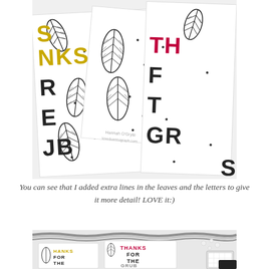[Figure (photo): Close-up photo of handmade greeting cards with black and white feather/leaf stamp designs and colorful letters spelling 'THANKS FOR THE GRUB' in yellow, black, and red/pink text, with small dot accents on white cardstock.]
You can see that I added extra lines in the leaves and the letters to give it more detail! LOVE it:)
[Figure (photo): Photo of handmade gift tags and cards showing 'THANKS FOR THE GRUB' stamp designs with feather/leaf motifs, black and white baker's twine, pearl embellishments, and a stamp tool, on a white surface.]